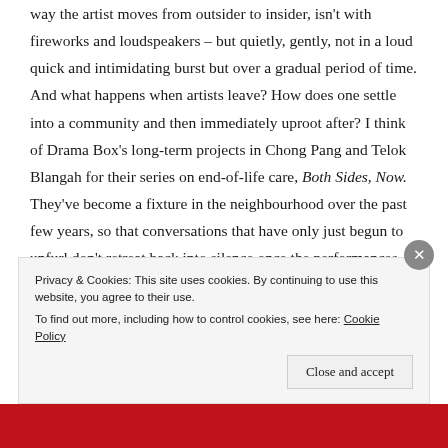way the artist moves from outsider to insider, isn't with fireworks and loudspeakers – but quietly, gently, not in a loud quick and intimidating burst but over a gradual period of time. And what happens when artists leave? How does one settle into a community and then immediately uproot after? I think of Drama Box's long-term projects in Chong Pang and Telok Blangah for their series on end-of-life care, Both Sides, Now. They've become a fixture in the neighbourhood over the past few years, so that conversations that have only just begun to unfurl don't retreat back into silence once the performances depart and the initial excitement fades. These activations can't be abruptly abandoned, and commissioned
Privacy & Cookies: This site uses cookies. By continuing to use this website, you agree to their use.
To find out more, including how to control cookies, see here: Cookie Policy